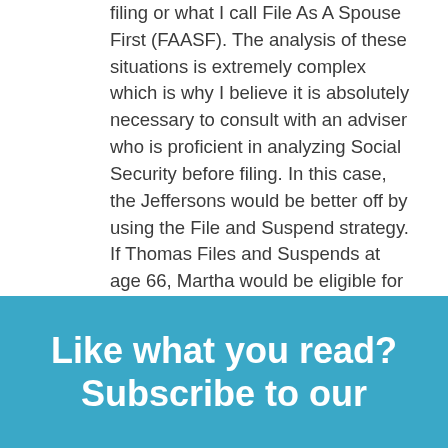filing or what I call File As A Spouse First (FAASF). The analysis of these situations is extremely complex which is why I believe it is absolutely necessary to consult with an adviser who is proficient in analyzing Social Security before filing. In this case, the Jeffersons would be better off by using the File and Suspend strategy. If Thomas Files and Suspends at age 66, Martha would be eligible for 35% of his PIA which is approximately $910 a month. If they use FAASF, they would only be eligible for $750 a month ($450 for Martha's benefit and $300 for Thomas' spousal benefit).
Like what you read? Subscribe to our